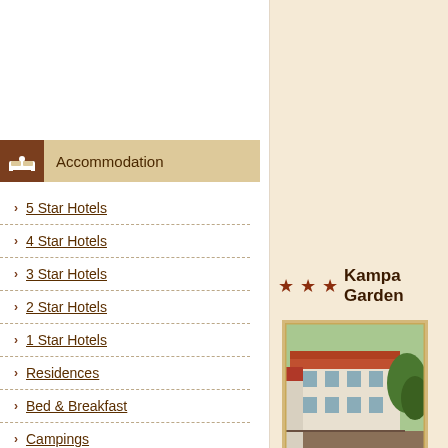Accommodation
5 Star Hotels
4 Star Hotels
3 Star Hotels
2 Star Hotels
1 Star Hotels
Residences
Bed & Breakfast
Campings
Information
Map of Prague
★ ★ ★ Kampa Garden
[Figure (photo): Photo of Hotel Kampa Garden Prague - a historic building with red roof surrounded by trees]
Hotel Kampa Garden Prague